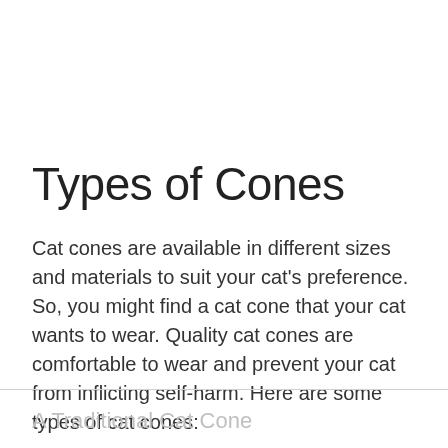Types of Cones
Cat cones are available in different sizes and materials to suit your cat's preference. So, you might find a cat cone that your cat wants to wear. Quality cat cones are comfortable to wear and prevent your cat from inflicting self-harm. Here are some types of cat cones:
A Traditional Cat Cone